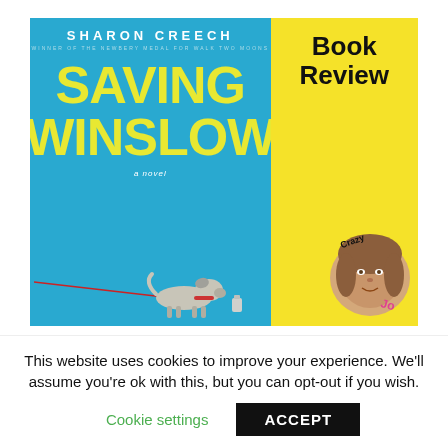[Figure (illustration): Book cover of 'Saving Winslow' by Sharon Creech. Left panel is light blue with author name at top in white, large yellow title 'SAVING WINSLOW', subtitle 'a novel', and illustrated dog on leash at bottom. Right yellow panel shows 'Book Review' in bold black text and a cartoon portrait of a reviewer with text 'Crazy' and 'Jo' overlaid.]
This website uses cookies to improve your experience. We'll assume you're ok with this, but you can opt-out if you wish.
Cookie settings
ACCEPT